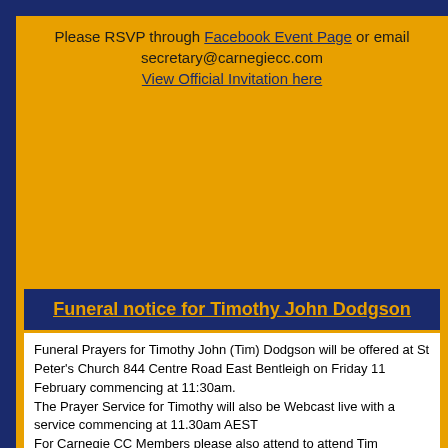Please RSVP through Facebook Event Page or email secretary@carnegiecc.com
View Official Invitation here
Funeral notice for Timothy John Dodgson
Funeral Prayers for Timothy John (Tim) Dodgson will be offered at St Peter's Church 844 Centre Road East Bentleigh on Friday 11 February commencing at 11:30am.
The Prayer Service for Timothy will also be Webcast live with a service commencing at 11.30am AEST
For Carnegie CC Members please attend to attend Tim...